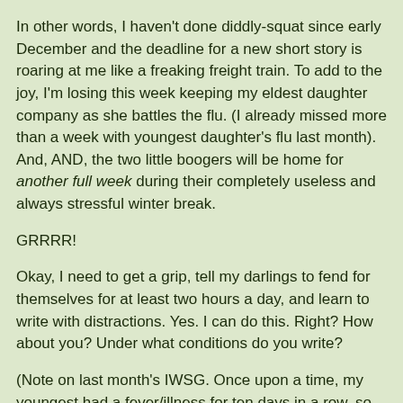In other words, I haven't done diddly-squat since early December and the deadline for a new short story is roaring at me like a freaking freight train. To add to the joy, I'm losing this week keeping my eldest daughter company as she battles the flu. (I already missed more than a week with youngest daughter's flu last month). And, AND, the two little boogers will be home for another full week during their completely useless and always stressful winter break.
GRRRR!
Okay, I need to get a grip, tell my darlings to fend for themselves for at least two hours a day, and learn to write with distractions. Yes. I can do this. Right? How about you? Under what conditions do you write?
(Note on last month's IWSG. Once upon a time, my youngest had a fever/illness for ten days in a row, so her pediatrian sent her to the ER for fluids and tests. So, when the same scenario started to present in January, I was expecting/fearing the same thing to happen, which would